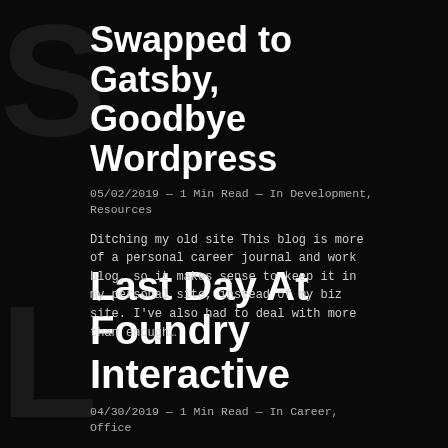Swapped to Gatsby, Goodbye Wordpress
05/02/2019 — 1 Min Read — In Development, Resources
Ditching my old site This blog is more of a personal career journal and work blog, so it makes sense to keep it in my personal site, instead of my biz site. I've also had to deal with more than enough…
Last Day At Foundry Interactive
04/30/2019 — 1 Min Read — In Career, Office